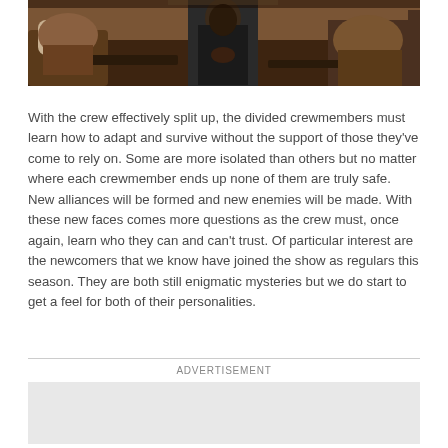[Figure (photo): A group of people seated, appearing to be crew members or audience in an indoor setting. Dark and warm toned clothing visible.]
With the crew effectively split up, the divided crewmembers must learn how to adapt and survive without the support of those they've come to rely on. Some are more isolated than others but no matter where each crewmember ends up none of them are truly safe. New alliances will be formed and new enemies will be made. With these new faces comes more questions as the crew must, once again, learn who they can and can't trust. Of particular interest are the newcomers that we know have joined the show as regulars this season. They are both still enigmatic mysteries but we do start to get a feel for both of their personalities.
ADVERTISEMENT